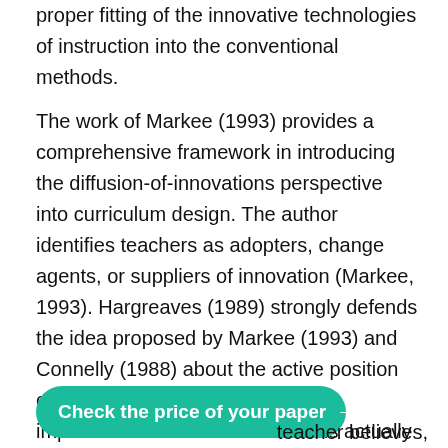proper fitting of the innovative technologies of instruction into the conventional methods.
The work of Markee (1993) provides a comprehensive framework in introducing the diffusion-of-innovations perspective into curriculum design. The author identifies teachers as adopters, change agents, or suppliers of innovation (Markee, 1993). Hargreaves (1989) strongly defends the idea proposed by Markee (1993) and Connelly (1988) about the active position of the teacher in the curriculum implementation because he/she is actually the one who will bring the innovation to the classroom. The author states that the success of curriculum reforms heavily relies on the involvement of the teacher and change that he/she adopts personally:
[Figure (other): Green rounded button with text 'Check the price of your paper →']
teacher believes,